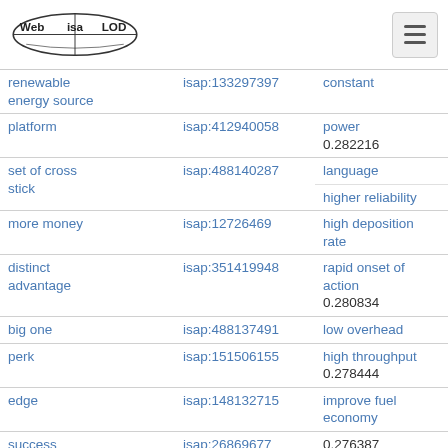Web isa LOD
| term | isap id | term | isap id |
| --- | --- | --- | --- |
| renewable energy source | isap:133297397 | constant |  |
| platform | isap:412940058 | power 0.282216 | isap:336761 |
| set of cross stick | isap:488140287 | language | isap:184570 |
|  |  | higher reliability | isap:276904 |
| more money | isap:12726469 | high deposition rate | isap:290826 |
| distinct advantage | isap:351419948 | rapid onset of action 0.280834 | isap:336875 |
| big one | isap:488137491 | low overhead | isap:185722 |
| perk | isap:151506155 | high throughput 0.278444 | isap:193068 |
| edge | isap:148132715 | improve fuel economy | isap:318086 |
| success | isap:26869677 | 0.276387 |  |
| minute | isap:133829383 |  |  |